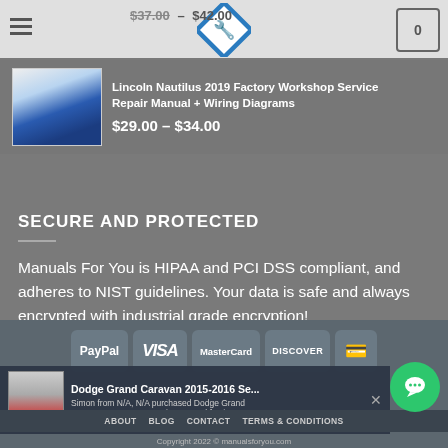$37.00 – $42.00
[Figure (logo): Diamond-shaped logo with crossed wrenches icon for manualsforyou.com]
[Figure (photo): Shopping cart icon with 0 items]
[Figure (photo): Lincoln Nautilus Factory Workshop Service manual book cover thumbnail]
Lincoln Nautilus 2019 Factory Workshop Service Repair Manual + Wiring Diagrams
$29.00 – $34.00
SECURE AND PROTECTED
Manuals For You is HIPAA and PCI DSS compliant, and adheres to NIST guidelines. Your data is safe and always encrypted with industrial grade encryption!
[Figure (infographic): Payment method icons: PayPal, VISA, MasterCard, Discover, Credit Card]
[Figure (photo): Dodge Grand Caravan 2015-2016 Service Manual book cover thumbnail]
Dodge Grand Caravan 2015-2016 Se...
Simon from N/A, N/A purchased Dodge Grand Caravan 2015-2016 Service Manual for $22.00.
ABOUT   BLOG   CONTACT   TERMS & CONDITIONS
Copyright 2022 © manualsforyou.com